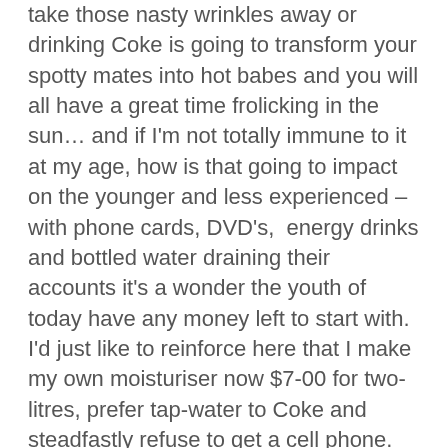take those nasty wrinkles away or drinking Coke is going to transform your spotty mates into hot babes and you will all have a great time frolicking in the sun… and if I'm not totally immune to it at my age, how is that going to impact on the younger and less experienced – with phone cards, DVD's,  energy drinks and bottled water draining their accounts it's a wonder the youth of today have any money left to start with. I'd just like to reinforce here that I make my own moisturiser now $7-00 for two-litres, prefer tap-water to Coke and steadfastly refuse to get a cell phone.
Anyway it wasn't big ticket items draining my resources, rather the